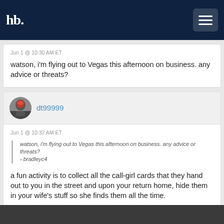hb. [navigation logo and hamburger menu]
Jun 1 @ 10:30 AM ET
watson, i'm flying out to Vegas this afternoon on business. any advice or threats?
dt99999
Jun 1 @ 10:32 AM ET
watson, i'm flying out to Vegas this afternoon on business. any advice or threats?
- bradleyc4
a fun activity is to collect all the call-girl cards that they hand out to you in the street and upon your return home, hide them in your wife's stuff so she finds them all the time.